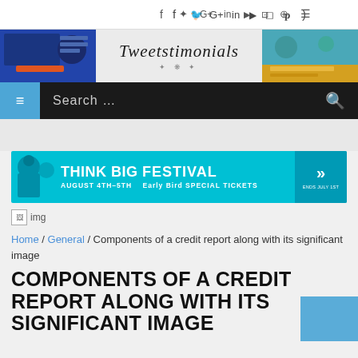Social icons: f  twitter  G+  in  YouTube  Instagram  Pinterest  RSS
[Figure (logo): Tweetstimonials website logo with decorative script font and flanking banner images]
[Figure (screenshot): Navigation bar with hamburger menu, search field, and search icon on dark background]
[Figure (infographic): Think Big FESTIVAL - August 4th-5th - Early Bird SPECIAL Tickets - Ends July 1st - teal banner ad]
[Figure (photo): img placeholder (broken image icon)]
Home / General / Components of a credit report along with its significant image
COMPONENTS OF A CREDIT REPORT ALONG WITH ITS SIGNIFICANT IMAGE